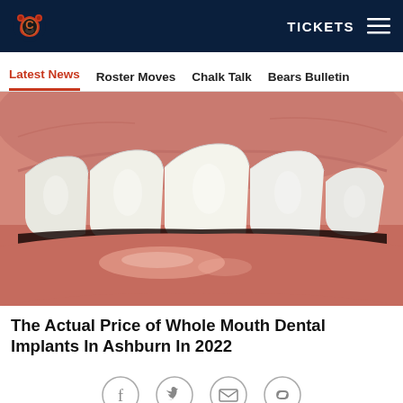TICKETS [hamburger menu]
Latest News | Roster Moves | Chalk Talk | Bears Bulletin
[Figure (photo): Close-up photo of a human mouth showing white teeth and lips, used as thumbnail for a dental implant advertisement article.]
The Actual Price of Whole Mouth Dental Implants In Ashburn In 2022
Social share icons: Facebook, Twitter, Email, Link